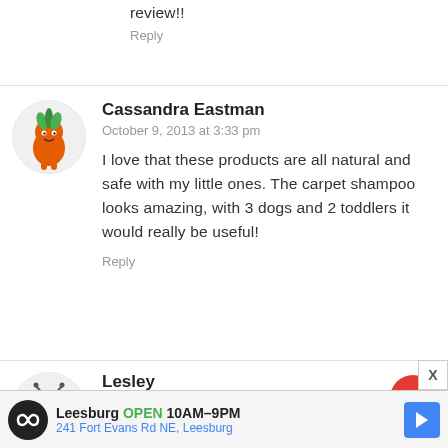review!!
Reply
Cassandra Eastman
October 9, 2013 at 3:33 pm
I love that these products are all natural and safe with my little ones. The carpet shampoo looks amazing, with 3 dogs and 2 toddlers it would really be useful!
Reply
Lesley
[Figure (infographic): Advertisement banner for Leesburg business: circular logo with infinity symbol, text 'Leesburg OPEN 10AM-9PM 241 Fort Evans Rd NE, Leesburg', blue diamond navigation icon]